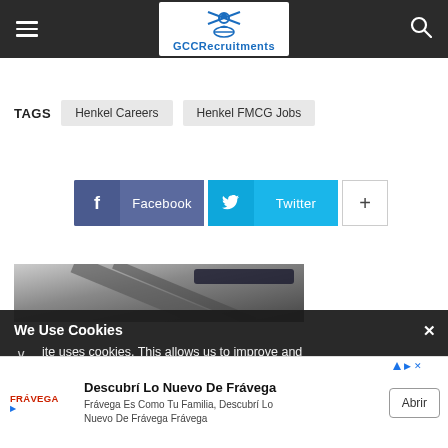GCCRecruitments navigation bar
TAGS  Henkel Careers  Henkel FMCG Jobs
[Figure (infographic): Social share buttons: Facebook, Twitter, and a + button]
[Figure (photo): Article thumbnail image showing a dark background with angled lines]
We Use Cookies - ✕ - ∨ - ite uses cookies. This allows us to improve and
Descubrí Lo Nuevo De Frávega - Frávega Es Como Tu Familia, Descubrí Lo Nuevo De Frávega Frávega - Abrir